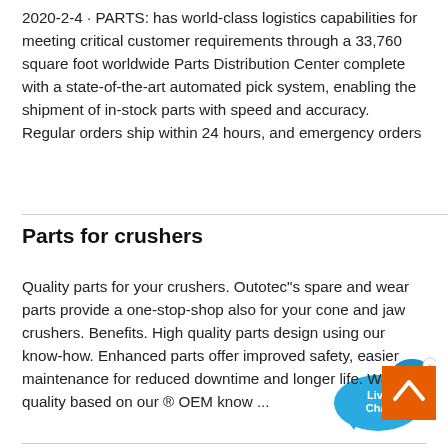2020-2-4 · PARTS: has world-class logistics capabilities for meeting critical customer requirements through a 33,760 square foot worldwide Parts Distribution Center complete with a state-of-the-art automated pick system, enabling the shipment of in-stock parts with speed and accuracy. Regular orders ship within 24 hours, and emergency orders
[Figure (illustration): Live Chat bubble icon — blue speech bubble with 'Live Chat' text and a small x close button in the upper right]
Parts for crushers
Quality parts for your crushers. Outotec"s spare and wear parts provide a one-stop-shop also for your cone and jaw crushers. Benefits. High quality parts design using our know-how. Enhanced parts offer improved safety, easier maintenance for reduced downtime and longer life. Wa and quality based on our ® OEM know ...
[Figure (illustration): Orange back-to-top button with upward chevron arrow icon]